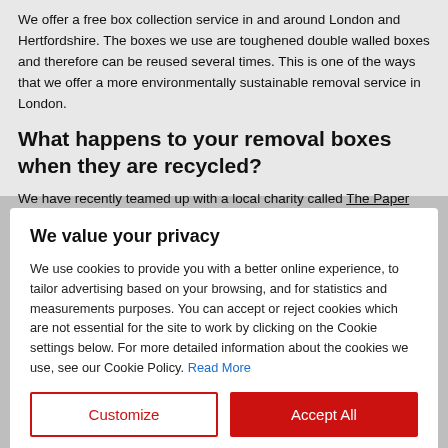We offer a free box collection service in and around London and Hertfordshire. The boxes we use are toughened double walled boxes and therefore can be reused several times. This is one of the ways that we offer a more environmentally sustainable removal service in London.
What happens to your removal boxes when they are recycled?
We have recently teamed up with a local charity called The Paper Trail
We value your privacy
We use cookies to provide you with a better online experience, to tailor advertising based on your browsing, and for statistics and measurements purposes. You can accept or reject cookies which are not essential for the site to work by clicking on the Cookie settings below. For more detailed information about the cookies we use, see our Cookie Policy. Read More